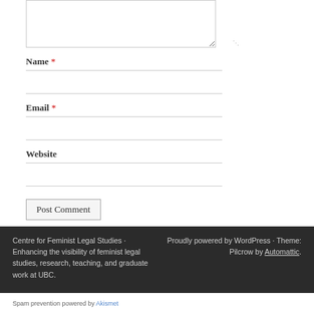Name *
Email *
Website
Post Comment
Centre for Feminist Legal Studies · Enhancing the visibility of feminist legal studies, research, teaching, and graduate work at UBC.
Proudly powered by WordPress · Theme: Pilcrow by Automattic.
Spam prevention powered by Akismet